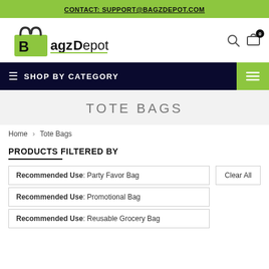CONTACT: SUPPORT@BAGZDEPOT.COM
[Figure (logo): BagzDepot logo with green shopping bag icon and bold text]
SHOP BY CATEGORY
TOTE BAGS
Home > Tote Bags
PRODUCTS FILTERED BY
Recommended Use: Party Favor Bag
Recommended Use: Promotional Bag
Recommended Use: Reusable Grocery Bag